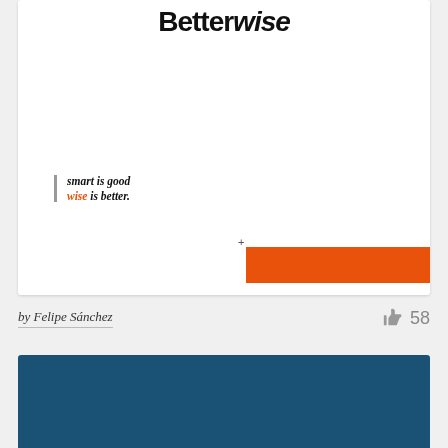[Figure (logo): BetterWise logo with bold black text and italic styling]
smart is good
wise is better.
by Felipe Sánchez
58
[Figure (illustration): Dark teal/blue rectangular background area at bottom of page]